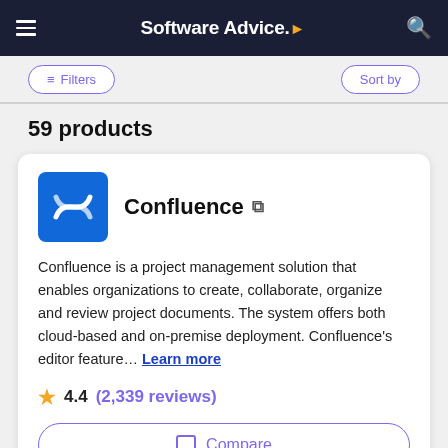Software Advice.
Filters   Sort by
59 products
Confluence
Confluence is a project management solution that enables organizations to create, collaborate, organize and review project documents. The system offers both cloud-based and on-premise deployment. Confluence's editor feature... Learn more
4.4 (2,339 reviews)
Compare